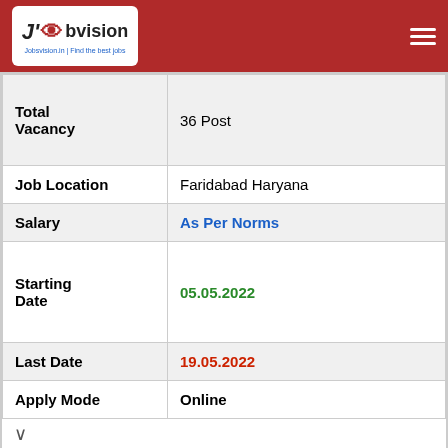J'O bvision | Jobsvision.in | Find the best jobs
| Field | Value |
| --- | --- |
| Total Vacancy | 36 Post |
| Job Location | Faridabad Haryana |
| Salary | As Per Norms |
| Starting Date | 05.05.2022 |
| Last Date | 19.05.2022 |
| Apply Mode | Online |
[Figure (infographic): Advertisement banner: resDNASEQ Residual Host DNA kits by Applied Biosystems, with Open button]